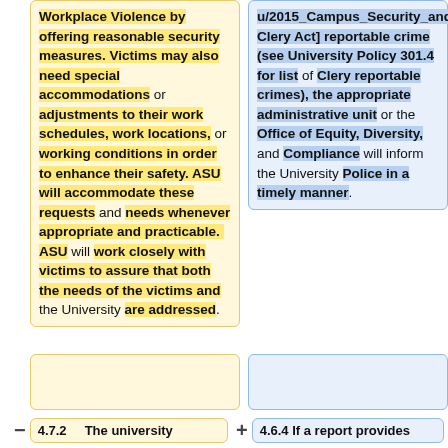Workplace Violence by offering reasonable security measures. Victims may also need special accommodations or adjustments to their work schedules, work locations, or working conditions in order to enhance their safety. ASU will accommodate these requests and needs whenever appropriate and practicable. ASU will work closely with victims to assure that both the needs of the victims and the University are addressed.
u/2015_Campus_Security_and_Fire_Safety_Report Clery Act] reportable crime (see University Policy 301.4 for list of Clery reportable crimes), the appropriate administrative unit or the Office of Equity, Diversity, and Compliance will inform the University Police in a timely manner.
4.7.2    The university
4.6.4 If a report provides